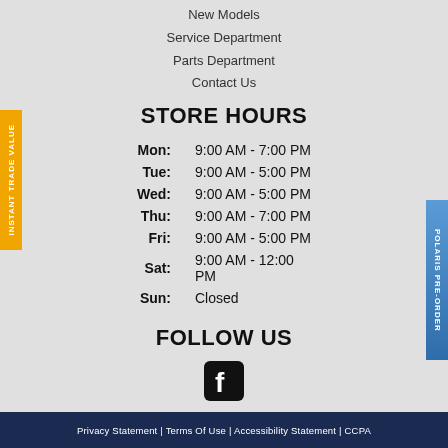New Models
Service Department
Parts Department
Contact Us
STORE HOURS
| Day | Hours |
| --- | --- |
| Mon: | 9:00 AM - 7:00 PM |
| Tue: | 9:00 AM - 5:00 PM |
| Wed: | 9:00 AM - 5:00 PM |
| Thu: | 9:00 AM - 7:00 PM |
| Fri: | 9:00 AM - 5:00 PM |
| Sat: | 9:00 AM - 12:00 PM |
| Sun: | Closed |
FOLLOW US
[Figure (logo): Facebook logo icon (square with 'f')]
Privacy Statement | Terms Of Use | Accessibility Statement | CCPA